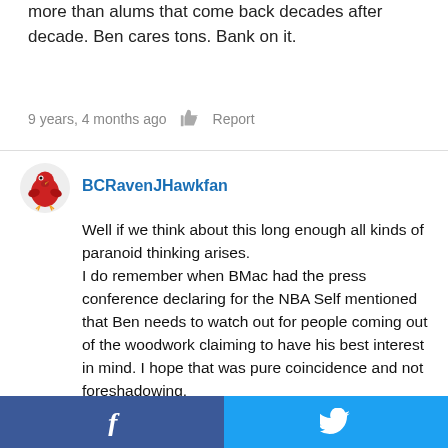more than alums that come back decades after decade. Ben cares tons. Bank on it.
9 years, 4 months ago  Report
BCRavenJHawkfan
Well if we think about this long enough all kinds of paranoid thinking arises.
I do remember when BMac had the press conference declaring for the NBA Self mentioned that Ben needs to watch out for people coming out of the woodwork claiming to have his best interest in mind. I hope that was pure coincidence and not foreshadowing.

The AAU angle does offer an interesting idea however. Seeing how this Cobb character is one of several in the AAU ranks with more interest in money than the development of the players, and how agents